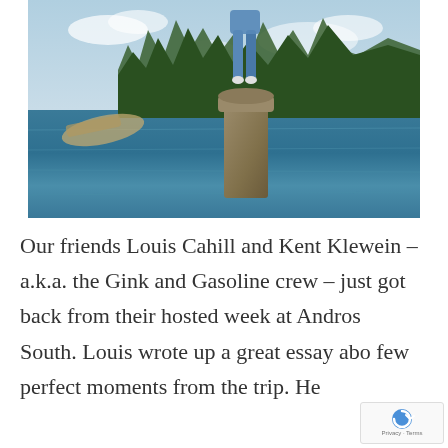[Figure (photo): Person standing on top of a stone pillar/bollard rising from turquoise water, with trees and a sunken boat visible in the background under a partly cloudy sky.]
Our friends Louis Cahill and Kent Klewein – a.k.a. the Gink and Gasoline crew – just got back from their hosted week at Andros South. Louis wrote up a great essay abo few perfect moments from the trip.  He